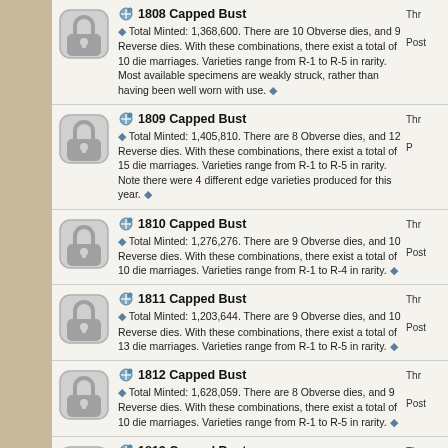1808 Capped Bust. Total Minted: 1,368,600. There are 10 Obverse dies, and 9 Reverse dies. With these combinations, there exist a total of 10 die marriages. Varieties range from R-1 to R-5 in rarity. Most available specimens are weakly struck, rather than having been well worn with use.
1809 Capped Bust. Total Minted: 1,405,810. There are 8 Obverse dies, and 12 Reverse dies. With these combinations, there exist a total of 15 die marriages. Varieties range from R-1 to R-5 in rarity. Note there were 4 different edge varieties produced for this year.
1810 Capped Bust. Total Minted: 1,276,276. There are 9 Obverse dies, and 10 Reverse dies. With these combinations, there exist a total of 10 die marriages. Varieties range from R-1 to R-4 in rarity.
1811 Capped Bust. Total Minted: 1,203,644. There are 9 Obverse dies, and 10 Reverse dies. With these combinations, there exist a total of 13 die marriages. Varieties range from R-1 to R-5 in rarity.
1812 Capped Bust. Total Minted: 1,628,059. There are 8 Obverse dies, and 9 Reverse dies. With these combinations, there exist a total of 10 die marriages. Varieties range from R-1 to R-5 in rarity.
1813 Capped Bust. Estimated Minted: 1,241,903. There are 7 Obverse dies, and 8 Reverse dies. With these combinations, there exist a total of 10 die marriages. Varieties range from R-1 to R-4 in rarity.